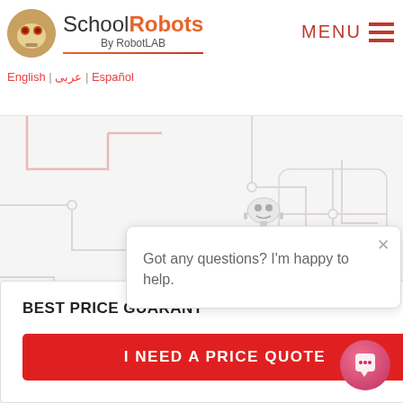[Figure (logo): SchoolRobots by RobotLAB logo with robot icon]
English | عربی | Español    MENU ≡
[Figure (illustration): Circuit board pattern background]
BEST PRICE GUARANT…
I NEED A PRICE QUOTE
[Figure (illustration): Chat robot popup: Got any questions? I'm happy to help.]
Got any questions? I'm happy to help.